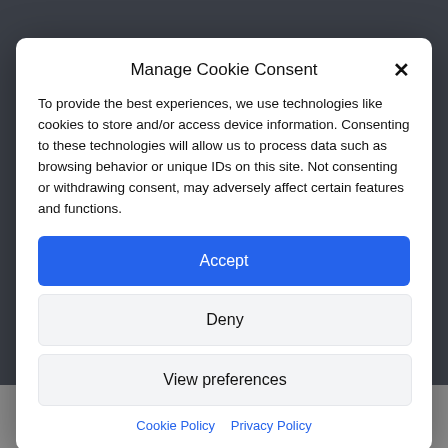speed, the demand for labor to sustain this rapid growth is exponentially increasing. With a burst in
Manage Cookie Consent
To provide the best experiences, we use technologies like cookies to store and/or access device information. Consenting to these technologies will allow us to process data such as browsing behavior or unique IDs on this site. Not consenting or withdrawing consent, may adversely affect certain features and functions.
Accept
Deny
View preferences
Cookie Policy   Privacy Policy